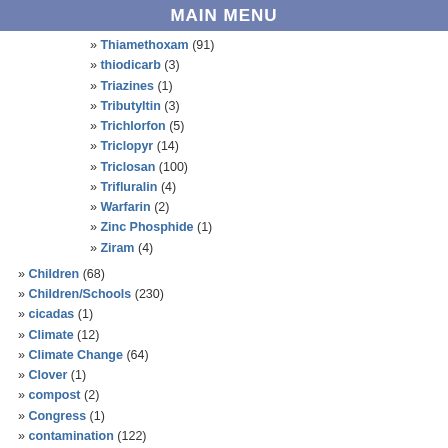MAIN MENU
» Thiamethoxam (91)
» thiodicarb (3)
» Triazines (1)
» Tributyltin (3)
» Trichlorfon (5)
» Triclopyr (14)
» Triclosan (100)
» Trifluralin (4)
» Warfarin (2)
» Zinc Phosphide (1)
» Ziram (4)
» Children (68)
» Children/Schools (230)
» cicadas (1)
» Climate (12)
» Climate Change (64)
» Clover (1)
» compost (2)
» Congress (1)
» contamination (122)
► Corporations (989)
▼ Disease/Health Effects (1367)
» ADHD (22)
» Allergies